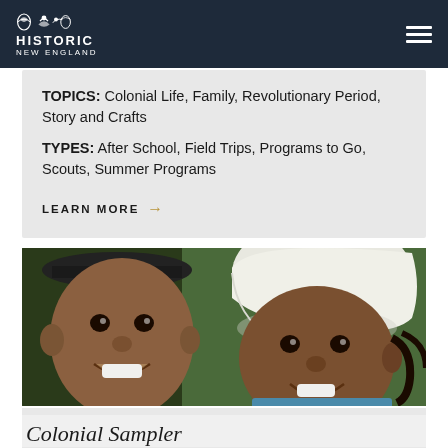HISTORIC NEW ENGLAND
TOPICS: Colonial Life, Family, Revolutionary Period, Story and Crafts
TYPES: After School, Field Trips, Programs to Go, Scouts, Summer Programs
LEARN MORE →
[Figure (photo): Two smiling children wearing colonial-era hats — one boy in a dark hat and one girl in a white bonnet — photographed outdoors]
Colonial Sampler